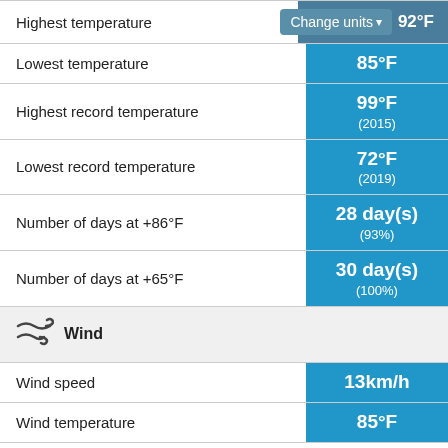| Metric | Value |
| --- | --- |
| Highest temperature | 92°F |
| Lowest temperature | 85°F |
| Highest record temperature | 99°F (2015) |
| Lowest record temperature | 72°F (2019) |
| Number of days at +86°F | 28 day(s) (93%) |
| Number of days at +65°F | 30 day(s) (100%) |
| Wind |  |
| Wind speed | 13km/h |
| Wind temperature | 85°F |